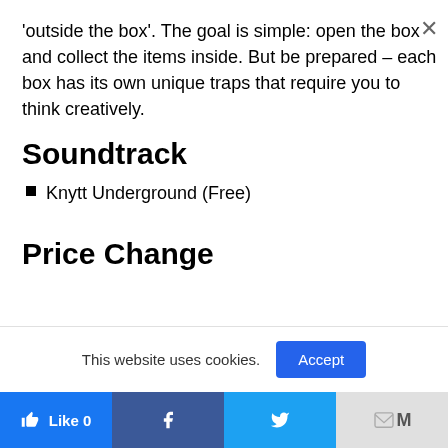'outside the box'. The goal is simple: open the box and collect the items inside. But be prepared – each box has its own unique traps that require you to think creatively.
Soundtrack
Knytt Underground (Free)
Price Change
This website uses cookies.
Accept
Like 0 | Facebook | Twitter | Gmail